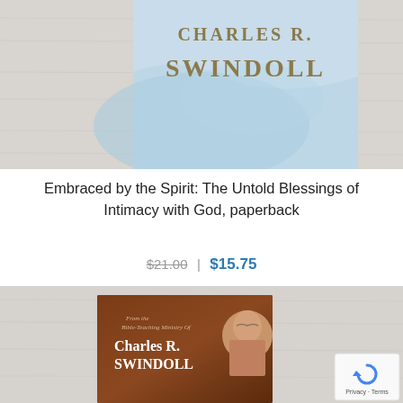[Figure (photo): Top portion of a book cover by Charles R. Swindoll with light blue design on a wood surface background]
Embraced by the Spirit: The Untold Blessings of Intimacy with God, paperback
$21.00  $15.75
[Figure (photo): Bottom portion showing another Swindoll book on wood surface with brown cover, text 'From the Bible-Teaching Ministry Of Charles R. Swindoll' with portrait photo, and reCAPTCHA badge]